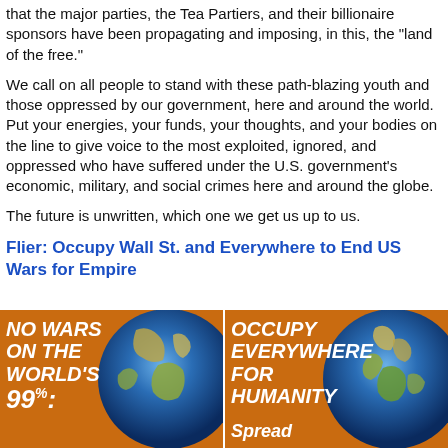that the major parties, the Tea Partiers, and their billionaire sponsors have been propagating and imposing, in this, the "land of the free."
We call on all people to stand with these path-blazing youth and those oppressed by our government, here and around the world. Put your energies, your funds, your thoughts, and your bodies on the line to give voice to the most exploited, ignored, and oppressed who have suffered under the U.S. government's economic, military, and social crimes here and around the globe.
The future is unwritten, which one we get us up to us.
Flier: Occupy Wall St. and Everywhere to End US Wars for Empire
[Figure (infographic): Two-panel orange flier with globe images. Left panel: bold white italic text 'NO WARS ON THE WORLD'S 99%:' over a globe. Right panel: bold white italic text 'OCCUPY EVERYWHERE FOR HUMANITY' with 'Spread' at bottom, over a globe.]